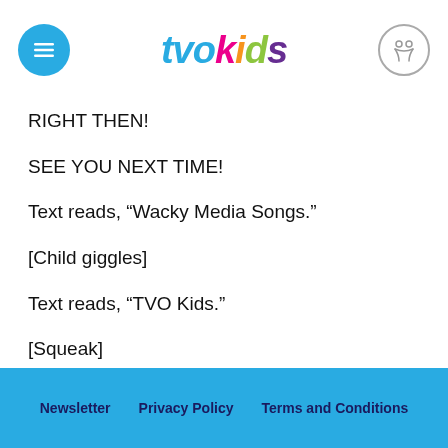tvokids
RIGHT THEN!
SEE YOU NEXT TIME!
Text reads, “Wacky Media Songs.”
[Child giggles]
Text reads, “TVO Kids.”
[Squeak]
Text reads, “Apartment Eleven Productions.”
Newsletter   Privacy Policy   Terms and Conditions